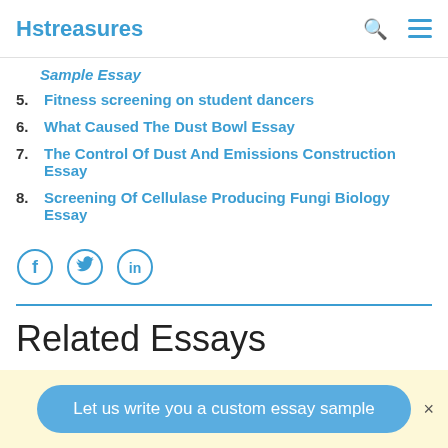Hstreasures
Sample Essay
5. Fitness screening on student dancers
6. What Caused The Dust Bowl Essay
7. The Control Of Dust And Emissions Construction Essay
8. Screening Of Cellulase Producing Fungi Biology Essay
[Figure (other): Social media icons: Facebook, Twitter, LinkedIn in circles]
Related Essays
Let us write you a custom essay sample